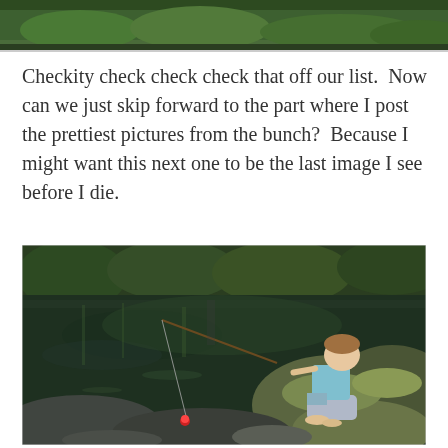[Figure (photo): Partial top photo showing green trees/foliage, cropped at top of page]
Checkity check check check that off our list.  Now can we just skip forward to the part where I post the prettiest pictures from the bunch?  Because I might want this next one to be the last image I see before I die.
[Figure (photo): A young child sitting on a mossy rock beside a calm, reflective green river, holding a fishing pole with a red bobber in the water. Trees and rocks visible in background.]